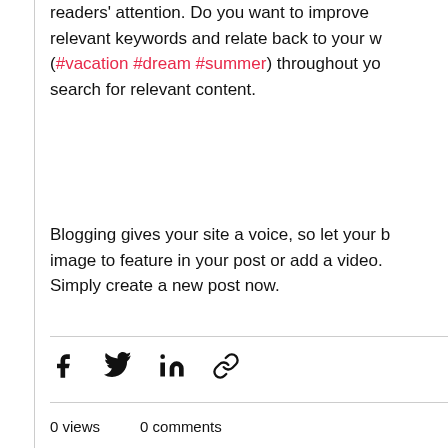readers' attention. Do you want to improve relevant keywords and relate back to your w (#vacation #dream #summer) throughout yo search for relevant content.
Blogging gives your site a voice, so let your b image to feature in your post or add a video. Simply create a new post now.
0 views   0 comments